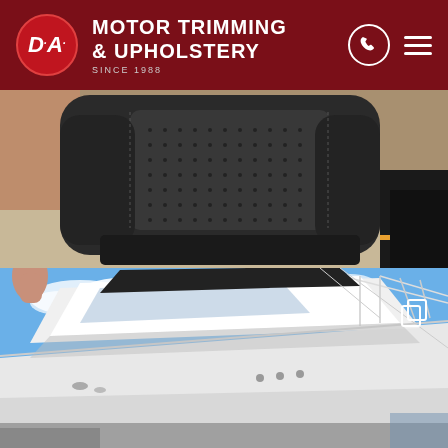[Figure (logo): DA Motor Trimming & Upholstery logo with red circular DA monogram, white text reading MOTOR TRIMMING & UPHOLSTERY, SINCE 1988, and phone/hamburger menu icons on dark red header background]
[Figure (photo): Close-up photograph of a dark grey/black car seat with perforated center panel and contrasting stitching, viewed from behind]
[Figure (photo): Photograph of a white luxury motor yacht deck and cabin structure against a blue sky, with railings and rigging visible]